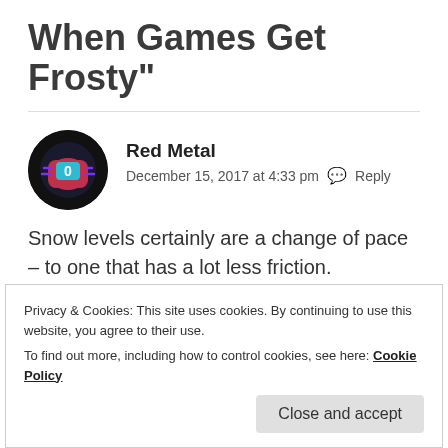When Games Get Frosty"
Red Metal
December 15, 2017 at 4:33 pm  Reply
Snow levels certainly are a change of pace – to one that has a lot less friction. Personally, I was fond of the Ice Cap Zone from Sonic 3, though there are some other good ones too.
Privacy & Cookies: This site uses cookies. By continuing to use this website, you agree to their use.
To find out more, including how to control cookies, see here: Cookie Policy